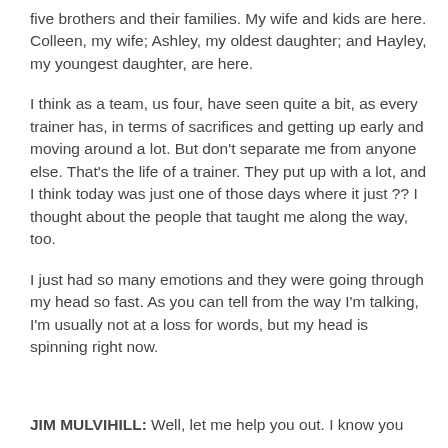five brothers and their families. My wife and kids are here. Colleen, my wife; Ashley, my oldest daughter; and Hayley, my youngest daughter, are here.
I think as a team, us four, have seen quite a bit, as every trainer has, in terms of sacrifices and getting up early and moving around a lot. But don't separate me from anyone else. That's the life of a trainer. They put up with a lot, and I think today was just one of those days where it just ?? I thought about the people that taught me along the way, too.
I just had so many emotions and they were going through my head so fast. As you can tell from the way I'm talking, I'm usually not at a loss for words, but my head is spinning right now.
JIM MULVIHILL: Well, let me help you out. I know you